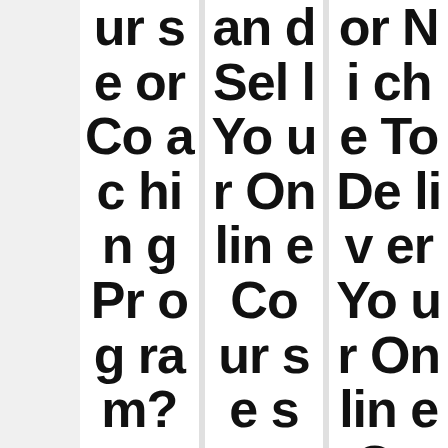ur se or Co ac hin g Pr og ra m?
Read More →
an d Sel l Yo ur On lin e Co ur se s on
or Ni ch e To De liv er Yo ur On lin e Co